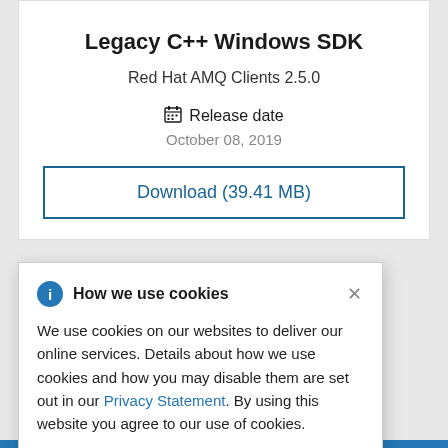Legacy C++ Windows SDK
Red Hat AMQ Clients 2.5.0
Release date
October 08, 2019
Download (39.41 MB)
How we use cookies
We use cookies on our websites to deliver our online services. Details about how we use cookies and how you may disable them are set out in our Privacy Statement. By using this website you agree to our use of cookies.